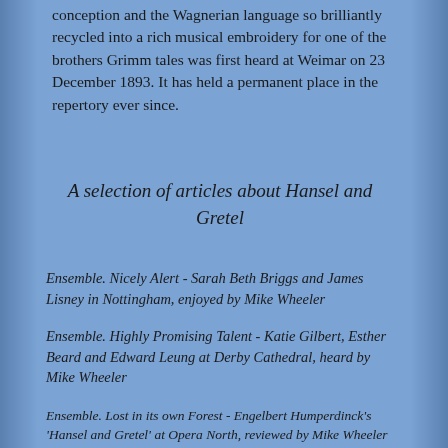conception and the Wagnerian language so brilliantly recycled into a rich musical embroidery for one of the brothers Grimm tales was first heard at Weimar on 23 December 1893. It has held a permanent place in the repertory ever since.
A selection of articles about Hansel and Gretel
Ensemble. Nicely Alert - Sarah Beth Briggs and James Lisney in Nottingham, enjoyed by Mike Wheeler
Ensemble. Highly Promising Talent - Katie Gilbert, Esther Beard and Edward Leung at Derby Cathedral, heard by Mike Wheeler
Ensemble. Lost in its own Forest - Engelbert Humperdinck's 'Hansel and Gretel' at Opera North, reviewed by Mike Wheeler
DVD Spotlight. Attractive and Skilful - Royal Opera's 'Hansel and Gretel', recommended by Patric Standford. '... a first class cast ...'
CD Spotlight. A Mixed Bag - Boston String Quartet's 'Xibus', reviewed by Howard Smith. 'What all this signifies is not at all